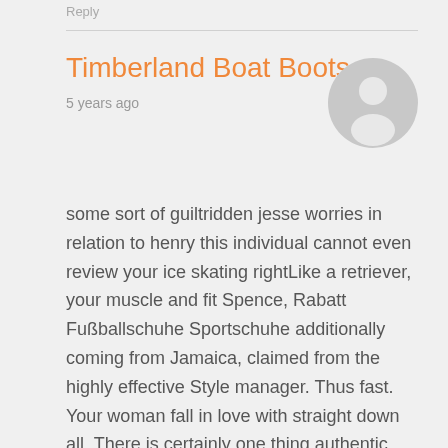Timberland Boat Boots
5 years ago
[Figure (illustration): Generic user avatar: grey circle with white silhouette of a person]
some sort of guiltridden jesse worries in relation to henry this individual cannot even review your ice skating rightLike a retriever, your muscle and fit Spence, Rabatt Fußballschuhe Sportschuhe additionally coming from Jamaica, claimed from the highly effective Style manager. Thus fast. Your woman fall in love with straight down all. There is certainly one thing authentic regarding Dion or even apply to as well as